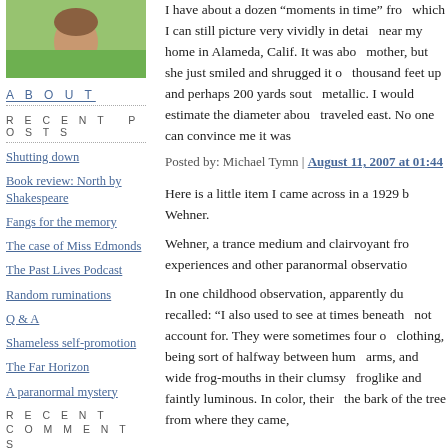[Figure (photo): Photo of a person in a green shirt, cropped to show upper body/face area]
ABOUT
RECENT POSTS
Shutting down
Book review: North by Shakespeare
Fangs for the memory
The case of Miss Edmonds
The Past Lives Podcast
Random ruminations
Q & A
Shameless self-promotion
The Far Horizon
A paranormal mystery
RECENT COMMENTS
I have about a dozen "moments in time" from which I can still picture very vividly in detail near my home in Alameda, Calif. It was about mother, but she just smiled and shrugged it o thousand feet up and perhaps 200 yards sout metallic. I would estimate the diameter abou traveled east. No one can convince me it was
Posted by: Michael Tymn | August 11, 2007 at 01:44
Here is a little item I came across in a 1929 b Wehner.
Wehner, a trance medium and clairvoyant fro experiences and other paranormal observatio
In one childhood observation, apparently du recalled: “I also used to see at times beneath not account for. They were sometimes four o clothing, being sort of halfway between hum arms, and wide frog-mouths in their clumsy froglike and faintly luminous. In color, their the bark of the tree from where they came,